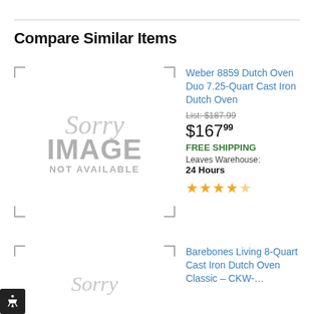Compare Similar Items
[Figure (photo): Sorry Image Not Available placeholder for Weber 8859 Dutch Oven Duo]
Weber 8859 Dutch Oven Duo 7.25-Quart Cast Iron Dutch Oven
List: $187.99
$167.99
FREE SHIPPING
Leaves Warehouse:
24 Hours
★★★★☆
[Figure (photo): Sorry Image Not Available placeholder for Barebones Living 8-Quart Cast Iron Dutch Oven]
Barebones Living 8-Quart Cast Iron Dutch Oven Classic – CKW-…